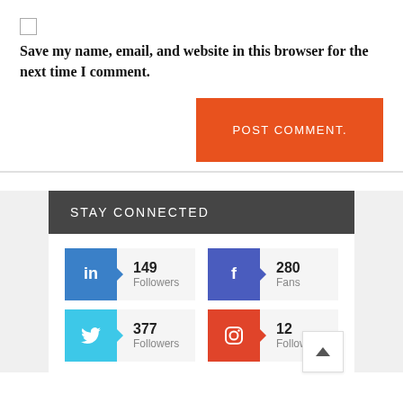Save my name, email, and website in this browser for the next time I comment.
POST COMMENT.
STAY CONNECTED
[Figure (infographic): Social media follower counts: LinkedIn 149 Followers, Facebook 280 Fans, Twitter 377 Followers, Instagram 12 Followers]